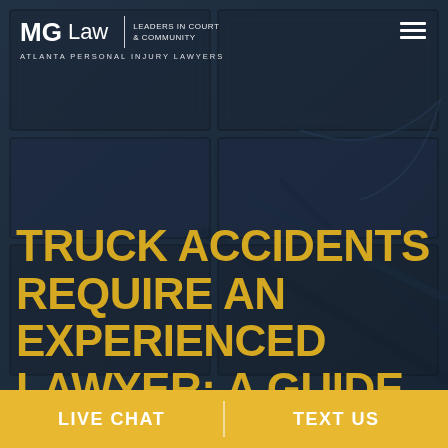MG Law | LEADERS IN COURT & COMMUNITY | ATLANTA PERSONAL INJURY LAWYERS
TRUCK ACCIDENTS REQUIRE AN EXPERIENCED LAWYER: A GUIDE TO GEORGIA'S DIRECT ACTION
[Figure (screenshot): Dark wood paneled architectural background with deep navy blue overlay]
LIVE CHAT
TEXT US